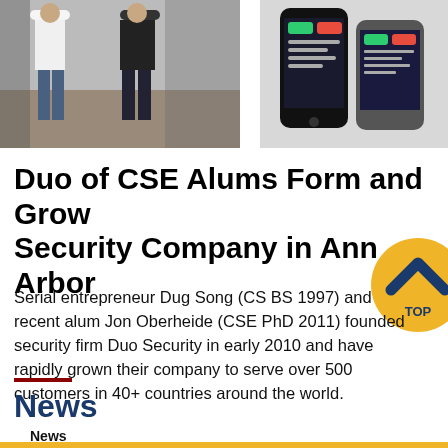[Figure (photo): Two people standing outdoors, casual clothing, gravel/railroad background]
[Figure (photo): Two smartphones showing an app interface with green and red buttons]
Duo of CSE Alums Form and Grow Security Company in Ann Arbor
Serial entrepreneur Dug Song (CS BS 1997) and recent alum Jon Oberheide (CSE PhD 2011) founded security firm Duo Security in early 2010 and have rapidly grown their company to serve over 500 customers in 40+ countries around the world.
News
News